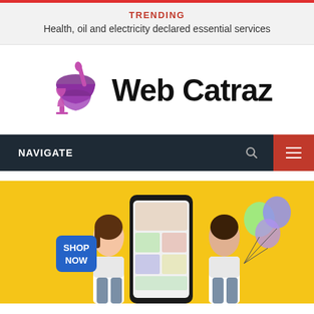TRENDING
Health, oil and electricity declared essential services
[Figure (logo): Web Catraz logo with mortar and pestle icon in purple/pink and text 'Web Catraz']
NAVIGATE
[Figure (photo): Two people (a woman and a man) standing in front of a large smartphone screen showing an e-commerce app, with a 'SHOP NOW' sign, colorful balloons, on a yellow background]